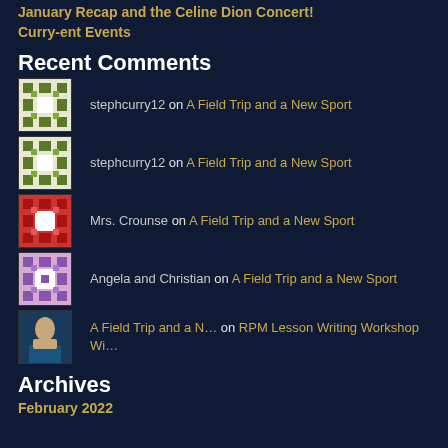January Recap and the Celine Dion Concert!
Curry-ent Events
Recent Comments
stephcurry12 on A Field Trip and a New Sport
stephcurry12 on A Field Trip and a New Sport
Mrs. Crounse on A Field Trip and a New Sport
Angela and Christian on A Field Trip and a New Sport
A Field Trip and a N… on RPM Lesson Writing Workshop Wi…
Archives
February 2022